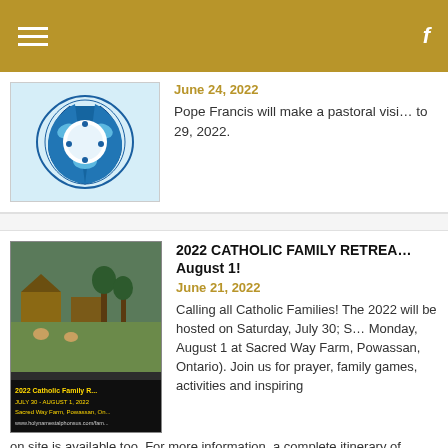Navigation header with hamburger menu and Facebook icon
[Figure (photo): Blue and white Indigenous-style circular bird/fish motif illustration]
June 24, 2022
Pope Francis will make a pastoral visit to 29, 2022.
[Figure (photo): 2022 Catholic Family Retreat poster showing JULY 30 - AUGUST 1, 2022, Sacred Way Farm, Powassan, Ontario with farm/outdoor activity images]
2022 CATHOLIC FAMILY RETREAT August 1!
June 21, 2022
Calling all Catholic Families! The 2022 will be hosted on Saturday, July 30; Sunday, Monday, August 1 at Sacred Way Farm, Powassan, Ontario). Join us for prayer, family games, activities and inspiring on site is available too. For more information, a complete itinerary of events, to see our guest speakers and to register your family holynamestalphonsus.com/familyretreat. The 2022 Catholic